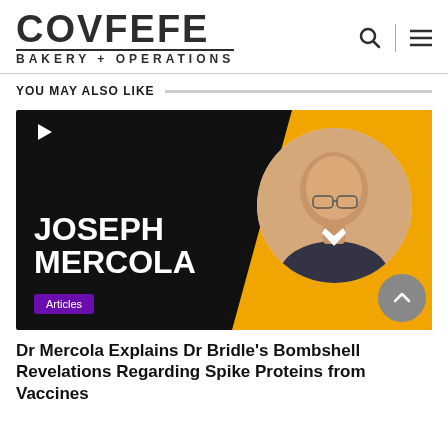COVFEFE BAKERY + OPERATIONS
YOU MAY ALSO LIKE
[Figure (photo): Thumbnail image for a Joseph Mercola video article. Black background with large white bold text 'JOSEPH MERCOLA', a circular portrait photo of a bald older man, and a yellow/orange diagonal section on the right. A play button icon is in the top left. An 'Articles' purple badge is in the bottom left.]
Dr Mercola Explains Dr Bridle's Bombshell Revelations Regarding Spike Proteins from Vaccines